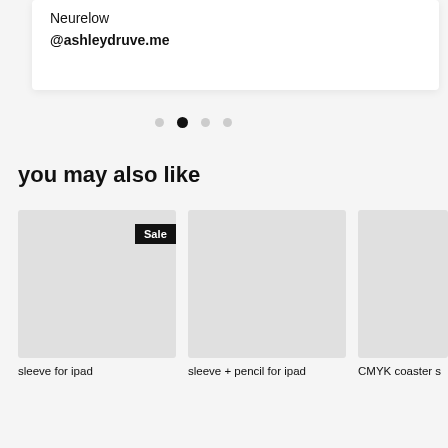Neurelow
@ashleydruve.me
[Figure (other): Pagination dots — 4 dots, second one filled/active]
you may also like
[Figure (photo): Product image placeholder for sleeve for ipad — gray rectangle with Sale badge]
[Figure (photo): Product image placeholder for sleeve + pencil for ipad — gray rectangle]
[Figure (photo): Product image placeholder for CMYK coaster — gray rectangle, partially cropped]
sleeve for ipad
sleeve + pencil for ipad
CMYK coaster s